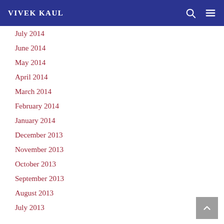VIVEK KAUL
July 2014
June 2014
May 2014
April 2014
March 2014
February 2014
January 2014
December 2013
November 2013
October 2013
September 2013
August 2013
July 2013